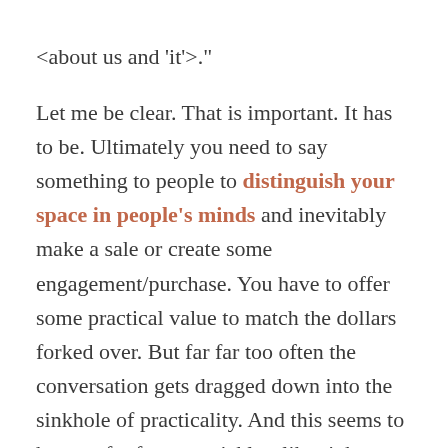<about us and 'it'>."

Let me be clear. That is important. It has to be. Ultimately you need to say something to people to distinguish your space in people's minds and inevitably make a sale or create some engagement/purchase. You have to offer some practical value to match the dollars forked over. But far far too often the conversation gets dragged down into the sinkhole of practicality. And this seems to happen far far too quickly <like right at the beginning>.